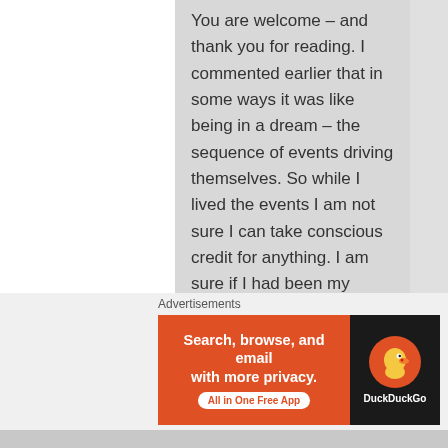You are welcome – and thank you for reading. I commented earlier that in some ways it was like being in a dream – the sequence of events driving themselves. So while I lived the events I am not sure I can take conscious credit for anything. I am sure if I had been my usual logical and objective computer guy self I would have just done my usual oblivious to the world thing.
Advertisements
[Figure (other): DuckDuckGo advertisement banner. Orange left panel reads 'Search, browse, and email with more privacy. All in One Free App'. Black right panel shows DuckDuckGo duck logo and brand name.]